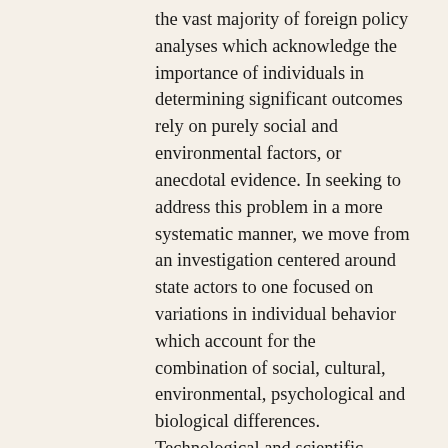the vast majority of foreign policy analyses which acknowledge the importance of individuals in determining significant outcomes rely on purely social and environmental factors, or anecdotal evidence. In seeking to address this problem in a more systematic manner, we move from an investigation centered around state actors to one focused on variations in individual behavior which account for the combination of social, cultural, environmental, psychological and biological differences. Technological and scientific advances in the last century have given researchers the ability to explore endogenous influences on behavior. The use of genetic, neurological, and neurochemical analyses have led to numerous psychological, medical and behavioral breakthroughs. Despite the valuable information gained however, none of the current methods in foreign policy carefully interrogate the endogenous underlying bases for individual differences in behavior. This is unfortunate because there is little question that complexities of human individual behavior cannot be fully understood without exploration into all forms of individual variance, including biological, neurological and genetic mechanisms (Kendler and Eaves 2005). This is true for political actors as well (Fowler and Schreiber 2008). Recent advances in